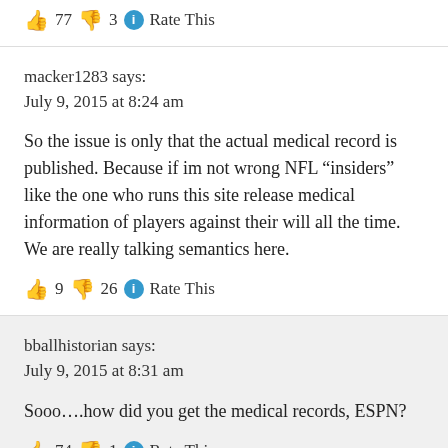77  3  Rate This
macker1283 says:
July 9, 2015 at 8:24 am
So the issue is only that the actual medical record is published. Because if im not wrong NFL “insiders” like the one who runs this site release medical information of players against their will all the time. We are really talking semantics here.
9  26  Rate This
bballhistorian says:
July 9, 2015 at 8:31 am
Sooo….how did you get the medical records, ESPN?
74  1  Rate This
hairpie2 says:
July 9, 2015 at 8:38 am